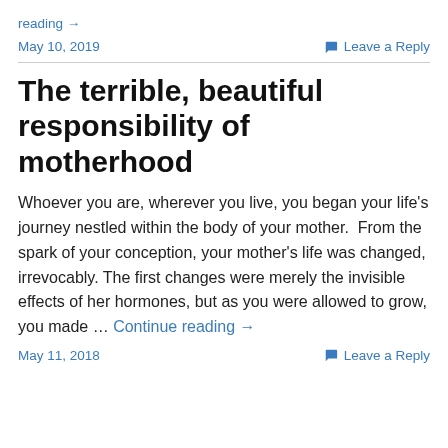reading →
May 10, 2019    Leave a Reply
The terrible, beautiful responsibility of motherhood
Whoever you are, wherever you live, you began your life's journey nestled within the body of your mother.  From the spark of your conception, your mother's life was changed, irrevocably. The first changes were merely the invisible effects of her hormones, but as you were allowed to grow, you made … Continue reading →
May 11, 2018    Leave a Reply